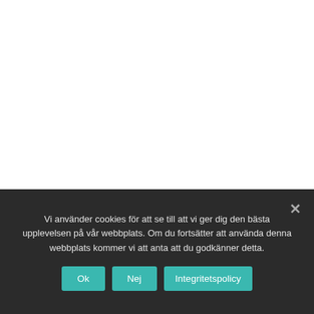Vi använder cookies för att se till att vi ger dig den bästa upplevelsen på vår webbplats. Om du fortsätter att använda denna webbplats kommer vi att anta att du godkänner detta.
Ok
Nej
Integritetspolicy